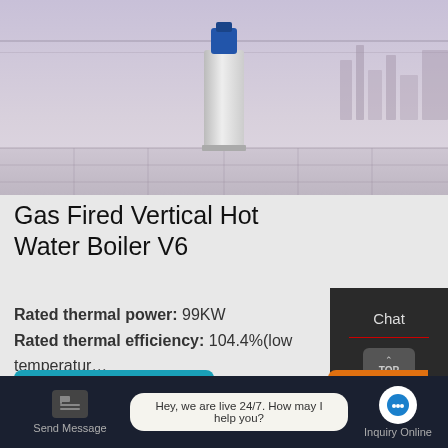[Figure (photo): Gas fired vertical hot water boiler unit on a tiled rooftop with city skyline in background]
Gas Fired Vertical Hot Water Boiler V6
Rated thermal power: 99KW
Rated thermal efficiency: 104.4%(low temperatur...
Learn More
Get a quote
[Figure (other): WhatsApp icon button (green rounded square)]
Contact us now!
Chat
TOP
En
Contact
Send Message
Hey, we are live 24/7. How may I help you?
Inquiry Online